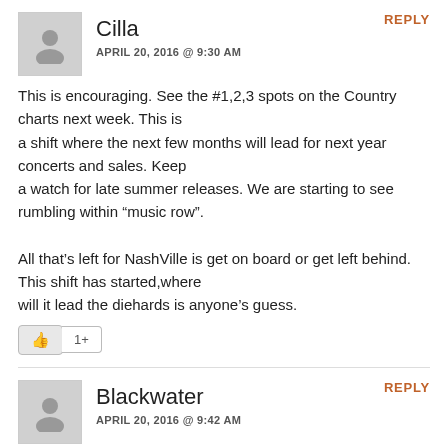Cilla
APRIL 20, 2016 @ 9:30 AM
REPLY
This is encouraging. See the #1,2,3 spots on the Country charts next week. This is a shift where the next few months will lead for next year concerts and sales. Keep a watch for late summer releases. We are starting to see rumbling within “music row”.

All that’s left for NashVille is get on board or get left behind. This shift has started,where will it lead the diehards is anyone’s guess.
Blackwater
APRIL 20, 2016 @ 9:42 AM
REPLY
Congrats Sturgill, people surely bought it based on meta’s genius. It seems to be a polarizing album with a lot of people asking wtf. Personally, I think the album is awful compared to his previous efforts. I keep forcing myself to listen to it, but I’m about done. There’s nothing positive to say about this album.